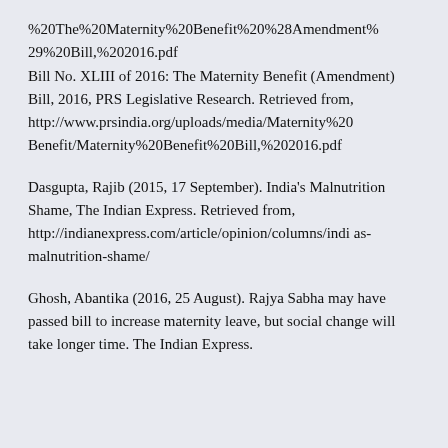%20The%20Maternity%20Benefit%20%28Amendment%29%20Bill,%202016.pdf Bill No. XLIII of 2016: The Maternity Benefit (Amendment) Bill, 2016, PRS Legislative Research. Retrieved from, http://www.prsindia.org/uploads/media/Maternity%20Benefit/Maternity%20Benefit%20Bill,%202016.pdf
Dasgupta, Rajib (2015, 17 September). India's Malnutrition Shame, The Indian Express. Retrieved from, http://indianexpress.com/article/opinion/columns/indias-malnutrition-shame/
Ghosh, Abantika (2016, 25 August). Rajya Sabha may have passed bill to increase maternity leave, but social change will take longer time. The Indian Express.